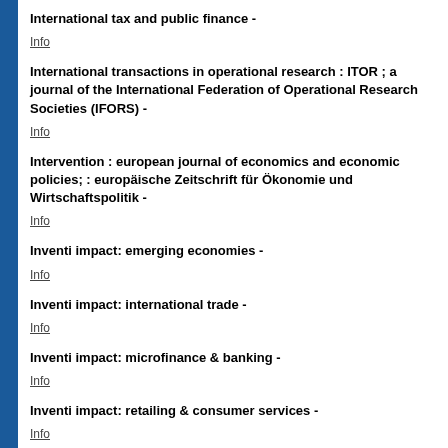International tax and public finance -
Info
International transactions in operational research : ITOR ; a journal of the International Federation of Operational Research Societies (IFORS) -
Info
Intervention : european journal of economics and economic policies; : europäische Zeitschrift für Ökonomie und Wirtschaftspolitik -
Info
Inventi impact: emerging economies -
Info
Inventi impact: international trade -
Info
Inventi impact: microfinance & banking -
Info
Inventi impact: retailing & consumer services -
Info